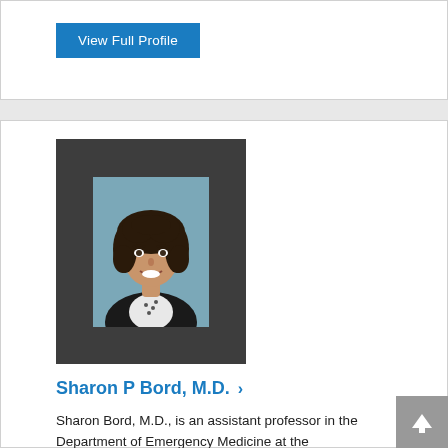View Full Profile
[Figure (photo): Professional headshot of Sharon P Bord, M.D., a woman with dark curly hair, smiling, wearing a black blazer over a patterned top, against a blue-grey background.]
Sharon P Bord, M.D.  ›
Sharon Bord, M.D., is an assistant professor in the Department of Emergency Medicine at the